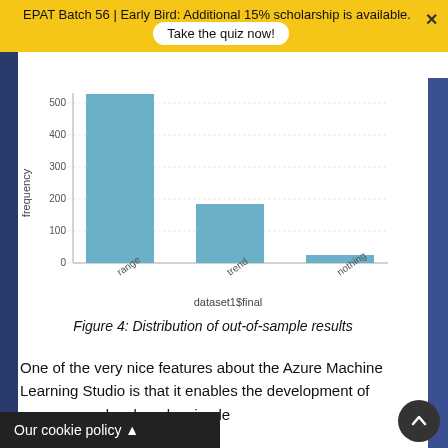EPAT Batch 56 | Early Bird: Additional 15% scholarship is available. Take the quiz now!
[Figure (bar-chart): ]
Figure 4: Distribution of out-of-sample results
One of the very nice features about the Azure Machine Learning Studio is that it enables the development of ur case, we developed a simple